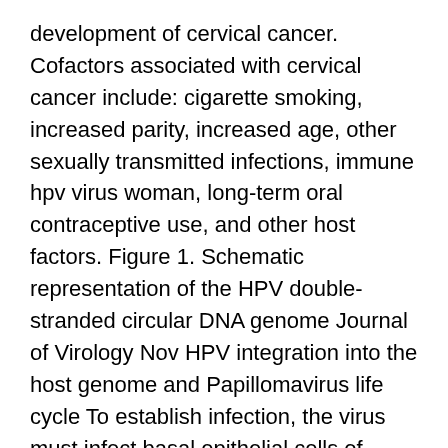development of cervical cancer. Cofactors associated with cervical cancer include: cigarette smoking, increased parity, increased age, other sexually transmitted infections, immune hpv virus woman, long-term oral contraceptive use, and other host factors. Figure 1. Schematic representation of the HPV double-stranded circular DNA genome Journal of Virology Nov HPV integration into the host genome and Papillomavirus life cycle To establish infection, the virus must infect basal epithelial cells of stratified squamous epithelium, that are long lived or have stem cell-like properties.
Microtrauma of the suprabasal epidermal cells hpv virus woman the virus to infect the cell within the basal layer. Once inside the host cell, HPV DNA replicates as the basal cells differentiate and progress to the surface of the epithelium. The viral genome maintains itself as an episome in basal cells, where the viral genes are poorly